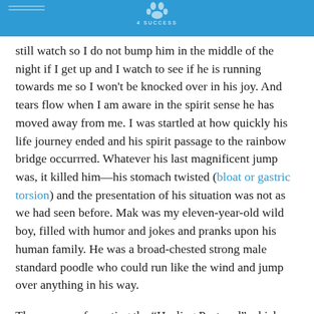4 SUCCESS
still watch so I do not bump him in the middle of the night if I get up and I watch to see if he is running towards me so I won't be knocked over in his joy. And tears flow when I am aware in the spirit sense he has moved away from me. I was startled at how quickly his life journey ended and his spirit passage to the rainbow bridge occurrred. Whatever his last magnificent jump was, it killed him—his stomach twisted (bloat or gastric torsion) and the presentation of his situation was not as we had seen before. Mak was my eleven-year-old wild boy, filled with humor and jokes and pranks upon his human family. He was a broad-chested strong male standard poodle who could run like the wind and jump over anything in his way.
The process of creating the “Healing Postcard” which can be done in any artistic media (paint, pencil, clay, beads, music, dance) brought closure and clarity. And even when the